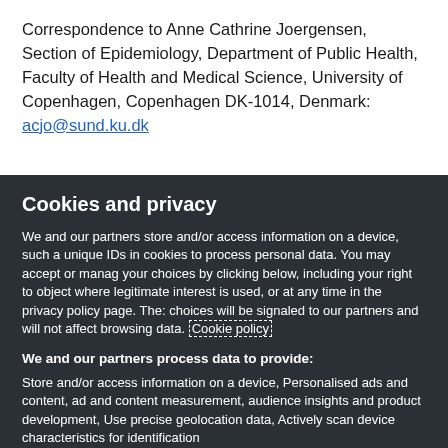Correspondence to Anne Cathrine Joergensen, Section of Epidemiology, Department of Public Health, Faculty of Health and Medical Science, University of Copenhagen, Copenhagen DK-1014, Denmark: acjo@sund.ku.dk
Cookies and privacy
We and our partners store and/or access information on a device, such as unique IDs in cookies to process personal data. You may accept or manage your choices by clicking below, including your right to object where legitimate interest is used, or at any time in the privacy policy page. These choices will be signaled to our partners and will not affect browsing data. Cookie policy
We and our partners process data to provide:
Store and/or access information on a device, Personalised ads and content, ad and content measurement, audience insights and product development, Use precise geolocation data, Actively scan device characteristics for identification
List of Partners (vendors)
I Accept